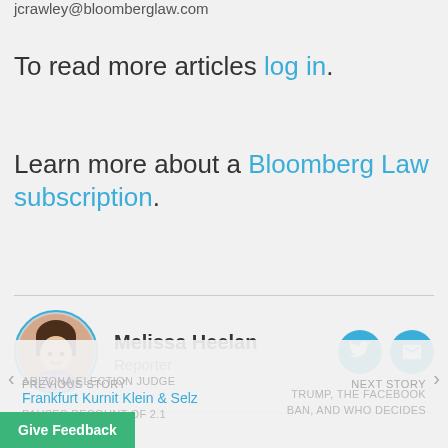jcrawley@bloomberglaw.com
To read more articles log in.
Learn more about a Bloomberg Law subscription.
Melissa Heelan
Reporter
Law Firms
PREVIOUS STORY
ARIZONA ELECTION JUDGE
Frankfurt Kurnit Klein & Selz
PAUSES RECOUNT OF 2.1
BALLOTS
NEXT STORY
TRUMP, THE FACEBOOK
BAN, AND WHO DECIDES
Give Feedback